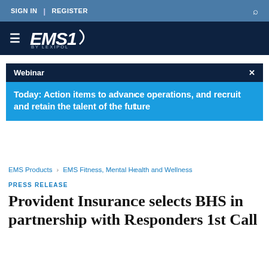SIGN IN | REGISTER
[Figure (logo): EMS1 by Lexipol logo with hamburger menu]
Webinar
Today: Action items to advance operations, and recruit and retain the talent of the future
EMS Products > EMS Fitness, Mental Health and Wellness
PRESS RELEASE
Provident Insurance selects BHS in partnership with Responders 1st Call